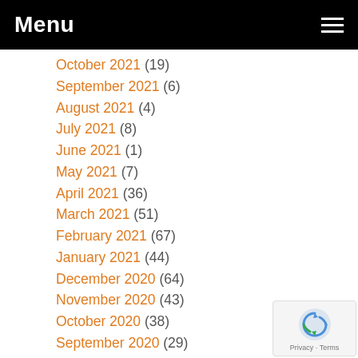Menu
October 2021 (19)
September 2021 (6)
August 2021 (4)
July 2021 (8)
June 2021 (1)
May 2021 (7)
April 2021 (36)
March 2021 (51)
February 2021 (67)
January 2021 (44)
December 2020 (64)
November 2020 (43)
October 2020 (38)
September 2020 (29)
August 2020 (23)
July 2020 (21)
June 2020 (16)
May 2020 (45)